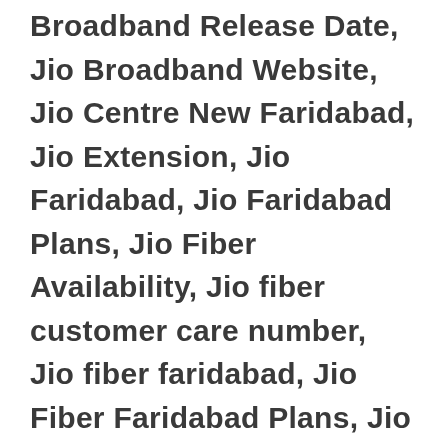Broadband Release Date, Jio Broadband Website, Jio Centre New Faridabad, Jio Extension, Jio Faridabad, Jio Faridabad Plans, Jio Fiber Availability, Jio fiber customer care number, Jio fiber faridabad, Jio Fiber Faridabad Plans, Jio Fiber Features, Jio Fiber Franchise, Jio Fiber In Faridabad, Jio Fiber Odisha, Jio Fiber Online Registration, Jio fiber plans faridabad, Jio Fiber Registration Faridabad, jio fiber registration online, Jio Fibernet Faridabad, Jio Fibre Faridabad, Jio Giga Fiber Apply, Jio Giga Fiber Apply Online, Jio Giga Fiber Availability Check, Jio Giga Fiber Cities, Jio Giga Fiber Cities Mumbai, Jio Giga Fiber Cities List